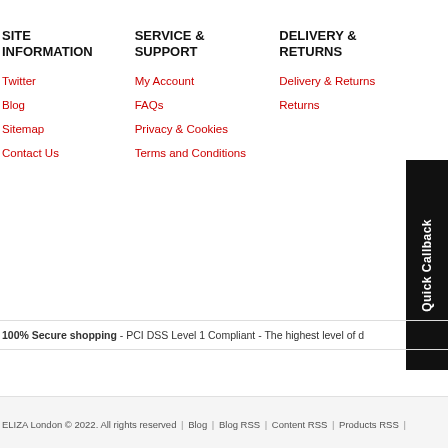SITE INFORMATION
SERVICE & SUPPORT
DELIVERY & RETURNS
Twitter
Blog
Sitemap
Contact Us
My Account
FAQs
Privacy & Cookies
Terms and Conditions
Delivery & Returns
Returns
[Figure (other): Quick Callback button - black vertical banner with white rotated text]
100% Secure shopping - PCI DSS Level 1 Compliant - The highest level of d
ELIZA London © 2022. All rights reserved | Blog | Blog RSS | Content RSS | Products RSS |